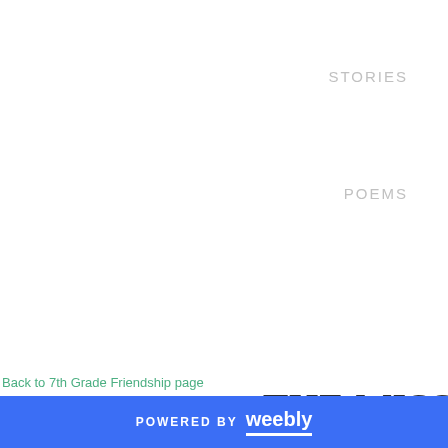STORIES
POEMS
VIDEOS
Back to 7th Grade Friendship page
THE MISS
POWERED BY weebly